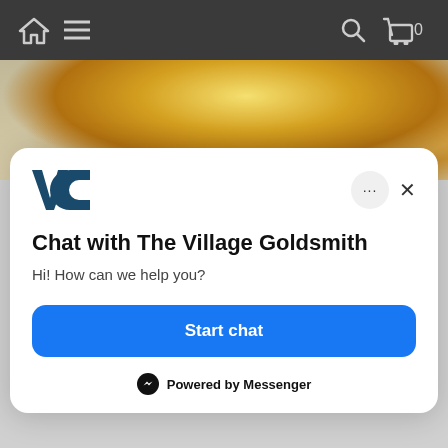[Figure (screenshot): Mobile app navigation bar with home icon, hamburger menu icon on left, and search icon, cart icon with '0' on right, dark gray background]
[Figure (photo): Close-up photo of gold jewelry ring with gemstone, gold tones, partial view]
[Figure (logo): VC logo in dark teal/navy color — two letter marks forming 'VC']
Chat with The Village Goldsmith
Hi! How can we help you?
Start chat
Powered by Messenger